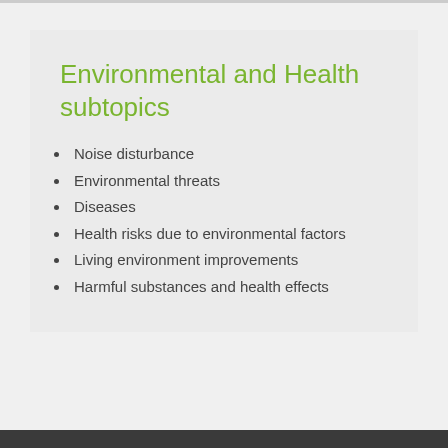Environmental and Health subtopics
Noise disturbance
Environmental threats
Diseases
Health risks due to environmental factors
Living environment improvements
Harmful substances and health effects